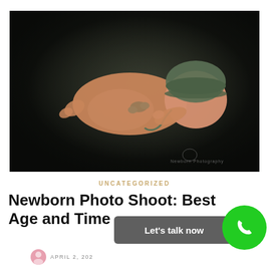[Figure (photo): A newborn baby sleeping on a dark gray surface, wearing a green knitted bonnet hat and a small green crocheted tie. The baby is posed laying on its side with hands near face. Dark moody photography style with a watermark at the bottom.]
UNCATEGORIZED
Newborn Photo Shoot: Best Age and Time